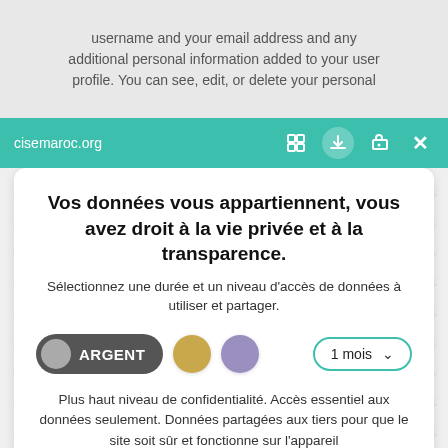username and your email address and any additional personal information added to your user profile. You can see, edit, or delete your personal
cisemaroc.org
Vos données vous appartiennent, vous avez droit à la vie privée et à la transparence.
Sélectionnez une durée et un niveau d'accès de données à utiliser et partager.
[Figure (infographic): Tier selector with ARGENT (grey toggle), gold circle, purple circle, and 1 mois dropdown]
Plus haut niveau de confidentialité. Accès essentiel aux données seulement. Données partagées aux tiers pour que le site soit sûr et fonctionne sur l'appareil
Sauvegarder mes choix
Personnalisez
Politique de confidentialité